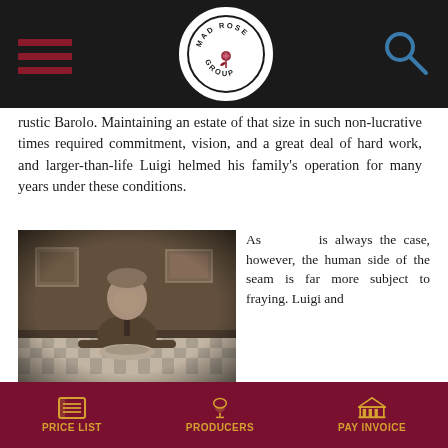Mad Rose Group navigation header with hamburger menu, logo, and search icon
rustic Barolo. Maintaining an estate of that size in such non-lucrative times required commitment, vision, and a great deal of hard work, and larger-than-life Luigi helmed his family's operation for many years under these conditions.
[Figure (photo): Black and white / sepia portrait photograph of an older man in a suit and tie sitting at a table with a checkered tablecloth, with framed pictures on the wall behind him.]
As is always the case, however, the human side of the seam is far more subject to fraying. Luigi and his brother Giacomo co-owned the Oddero estate until 2006, when insurmountable tensions drove them apart, and the
PRICE LIST   PRODUCERS   PAY INVOICE